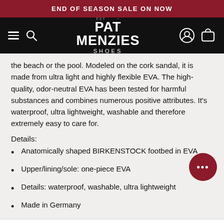END OF SEASON SALE ON NOW
[Figure (logo): Pat Menzies Shoes logo with navigation bar on black background, hamburger menu and search icon on left, user and cart icons on right]
the beach or the pool. Modeled on the cork sandal, it is made from ultra light and highly flexible EVA. The high-quality, odor-neutral EVA has been tested for harmful substances and combines numerous positive attributes. It's waterproof, ultra lightweight, washable and therefore extremely easy to care for.
Details:
Anatomically shaped BIRKENSTOCK footbed in EVA
Upper/lining/sole: one-piece EVA
Details: waterproof, washable, ultra lightweight
Made in Germany
STAFF REVIEWS